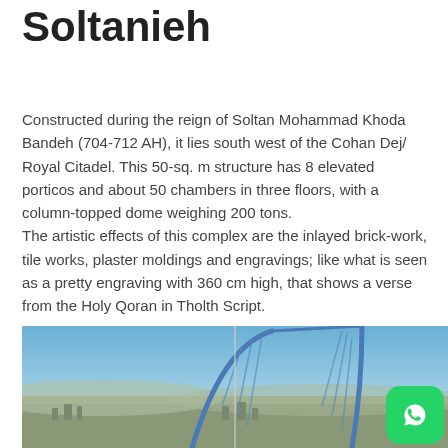Soltanieh
Constructed during the reign of Soltan Mohammad Khoda Bandeh (704-712 AH), it lies south west of the Cohan Dej/ Royal Citadel. This 50-sq. m structure has 8 elevated porticos and about 50 chambers in three floors, with a column-topped dome weighing 200 tons.
The artistic effects of this complex are the inlayed brick-work, tile works, plaster moldings and engravings; like what is seen as a pretty engraving with 360 cm high, that shows a verse from the Holy Qoran in Tholth Script.
[Figure (photo): Aerial/panoramic view of Soltanieh with an arch structure and cityscape in the background under a blue sky. WhatsApp icon button visible in bottom-right corner.]